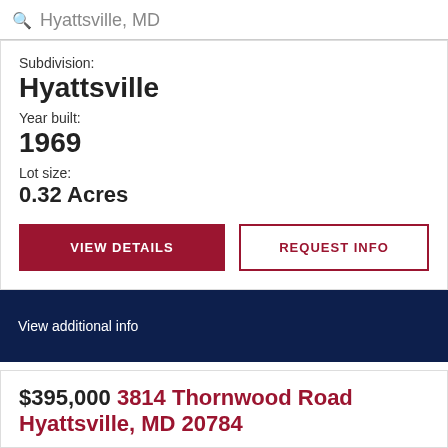Hyattsville, MD
Subdivision:
Hyattsville
Year built:
1969
Lot size:
0.32 Acres
VIEW DETAILS
REQUEST INFO
View additional info
$395,000 3814 Thornwood Road Hyattsville, MD 20784
[Figure (photo): Exterior photo of property with trees and blue sky visible]